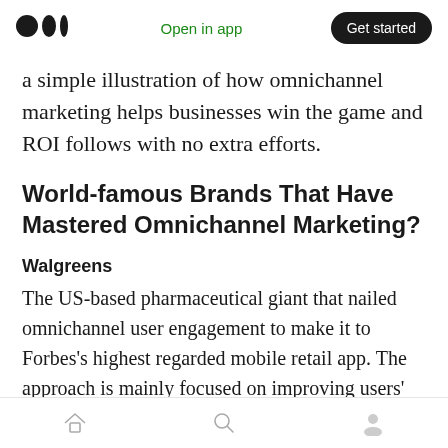Open in app | Get started
a simple illustration of how omnichannel marketing helps businesses win the game and ROI follows with no extra efforts.
World-famous Brands That Have Mastered Omnichannel Marketing?
Walgreens
The US-based pharmaceutical giant that nailed omnichannel user engagement to make it to Forbes’s highest regarded mobile retail app. The approach is mainly focused on improving users’ in-store experience.
Home | Search | Profile